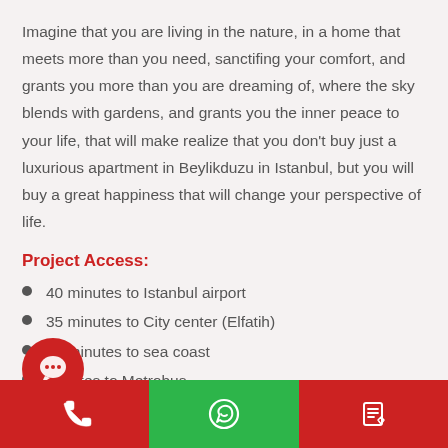Imagine that you are living in the nature, in a home that meets more than you need, sanctifing your comfort, and grants you more than you are dreaming of, where the sky blends with gardens, and grants you the inner peace to your life, that will make realize that you don't buy just a luxurious apartment in Beylikduzu in Istanbul, but you will buy a great happiness that will change your perspective of life.
Project Access:
40 minutes to Istanbul airport
35 minutes to City center (Elfatih)
10 minutes to sea coast
minutes to Metrobus